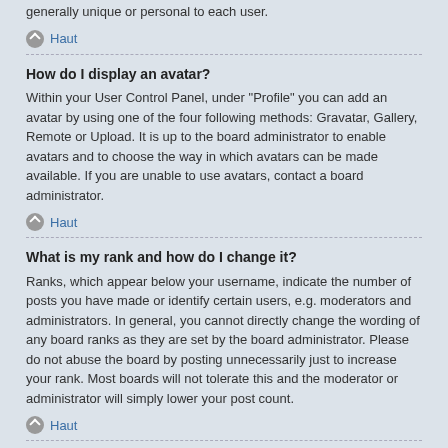generally unique or personal to each user.
Haut
How do I display an avatar?
Within your User Control Panel, under "Profile" you can add an avatar by using one of the four following methods: Gravatar, Gallery, Remote or Upload. It is up to the board administrator to enable avatars and to choose the way in which avatars can be made available. If you are unable to use avatars, contact a board administrator.
Haut
What is my rank and how do I change it?
Ranks, which appear below your username, indicate the number of posts you have made or identify certain users, e.g. moderators and administrators. In general, you cannot directly change the wording of any board ranks as they are set by the board administrator. Please do not abuse the board by posting unnecessarily just to increase your rank. Most boards will not tolerate this and the moderator or administrator will simply lower your post count.
Haut
When I click the email link for a user it asks me to login?
Only registered users can send email to other users via the built-in email form, and only if the administrator has enabled this feature. This is to prevent email harvesting of the email addresses.